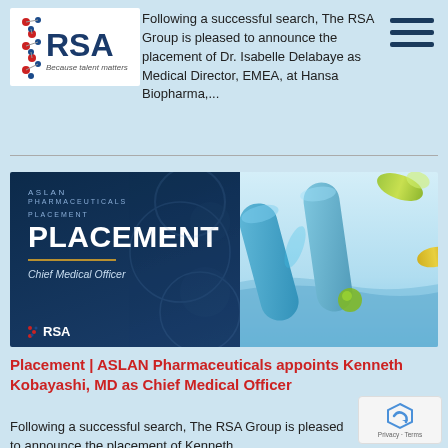Following a successful search, The RSA Group is pleased to announce the placement of Dr. Isabelle Delabaye as Medical Director, EMEA, at Hansa Biopharma,...
[Figure (infographic): ASLAN Pharmaceuticals Placement - Chief Medical Officer banner image with RSA logo on dark navy background left side, and microscopic pills/capsules photo on right side]
Placement | ASLAN Pharmaceuticals appoints Kenneth Kobayashi, MD as Chief Medical Officer
Following a successful search, The RSA Group is pleased to announce the placement of Kenneth